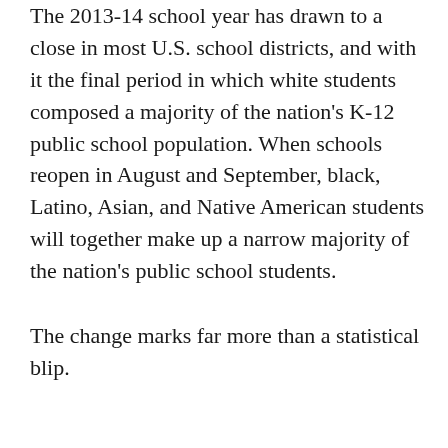The 2013-14 school year has drawn to a close in most U.S. school districts, and with it the final period in which white students composed a majority of the nation's K-12 public school population. When schools reopen in August and September, black, Latino, Asian, and Native American students will together make up a narrow majority of the nation's public school students.
The change marks far more than a statistical blip.